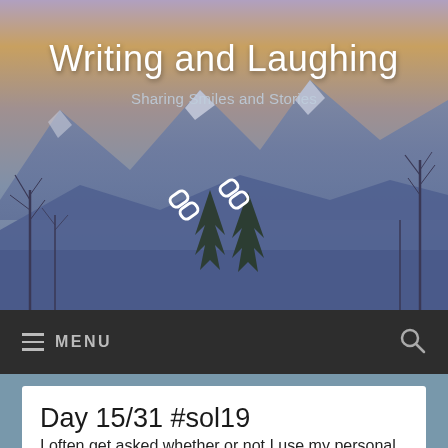[Figure (photo): Blog header image showing snow-capped mountains at dusk/dawn with bare trees in foreground and warm orange/purple sky gradient]
Writing and Laughing
Sharing Smiles and Stories
≡ MENU
Day 15/31 #sol19
I often get asked whether or not I use my personal